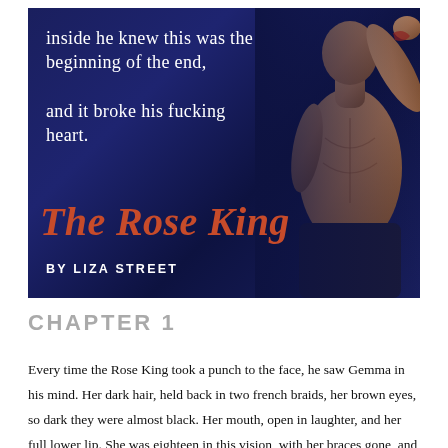[Figure (illustration): Book cover for 'The Rose King' by Liza Street. Dark navy/blue background with a muscular male figure on the right side. White italic text reads 'inside he knew this was the beginning of the end,' and 'and it broke his fucking heart.' The title 'The Rose King' is in large red cursive script, with 'BY LIZA STREET' in white uppercase letters below.]
CHAPTER 1
Every time the Rose King took a punch to the face, he saw Gemma in his mind. Her dark hair, held back in two french braids, her brown eyes, so dark they were almost black. Her mouth, open in laughter, and her full lower lip. She was eighteen in this vision, with her braces gone, and that quirky smile she wore right before laughing at herself.